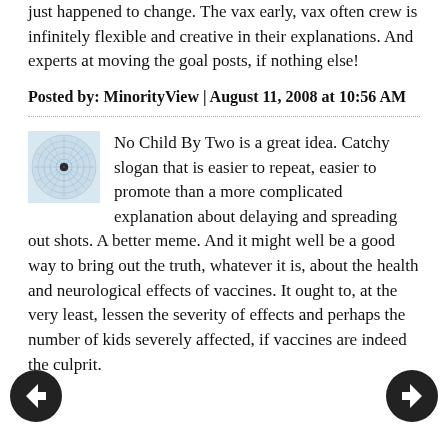just happened to change. The vax early, vax often crew is infinitely flexible and creative in their explanations. And experts at moving the goal posts, if nothing else!
Posted by: MinorityView | August 11, 2008 at 10:56 AM
No Child By Two is a great idea. Catchy slogan that is easier to repeat, easier to promote than a more complicated explanation about delaying and spreading out shots. A better meme. And it might well be a good way to bring out the truth, whatever it is, about the health and neurological effects of vaccines. It ought to, at the very least, lessen the severity of effects and perhaps the number of kids severely affected, if vaccines are indeed the culprit.